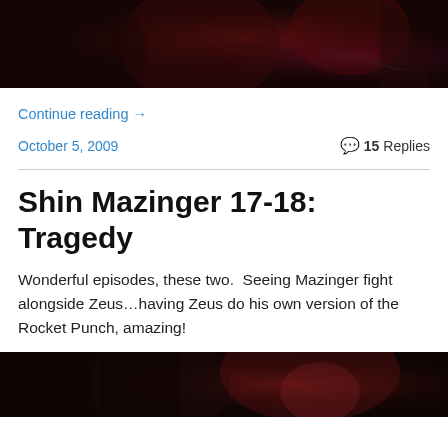[Figure (photo): Dark anime scene with red/dark tones, partial character visible at top of page]
Continue reading →
October 5, 2009
💬 15 Replies
Shin Mazinger 17-18: Tragedy
Wonderful episodes, these two.  Seeing Mazinger fight alongside Zeus…having Zeus do his own version of the Rocket Punch, amazing!
[Figure (photo): Anime characters with dark hair and red hair, dark background, bottom of page]